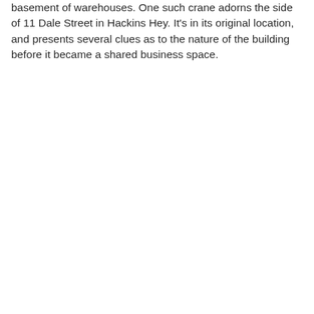basement of warehouses. One such crane adorns the side of 11 Dale Street in Hackins Hey. It's in its original location, and presents several clues as to the nature of the building before it became a shared business space.